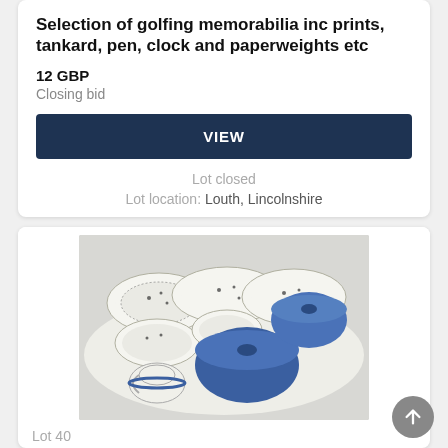Selection of golfing memorabilia inc prints, tankard, pen, clock and paperweights etc
12 GBP
Closing bid
VIEW
Lot closed
Lot location: Louth, Lincolnshire
[Figure (photo): Photo of a set of white china dishes with blue floral pattern, including plates, bowls, and a blue ceramic casserole dish with lid, arranged on a white surface.]
Lot 40